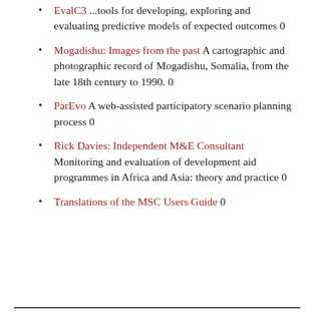EvalC3 ...tools for developing, exploring and evaluating predictive models of expected outcomes 0
Mogadishu: Images from the past A cartographic and photographic record of Mogadishu, Somalia, from the late 18th century to 1990. 0
ParEvo A web-assisted participatory scenario planning process 0
Rick Davies: Independent M&E Consultant Monitoring and evaluation of development aid programmes in Africa and Asia: theory and practice 0
Translations of the MSC Users Guide 0